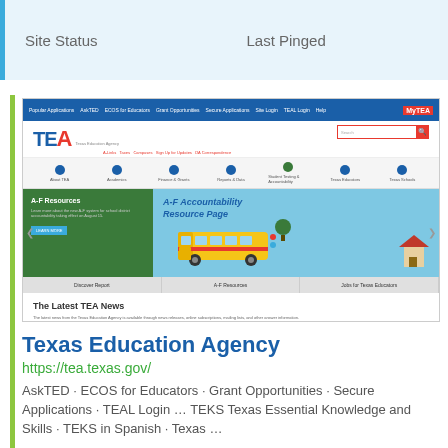| Site Status | Last Pinged |
| --- | --- |
[Figure (screenshot): Screenshot of the Texas Education Agency website (tea.texas.gov) showing navigation bar, TEA logo, icon menu, a banner featuring A-F Resources and A-F Accountability Resource Page with a school bus illustration, navigation tabs, and The Latest TEA News section with category buttons.]
Texas Education Agency
https://tea.texas.gov/
AskTED · ECOS for Educators · Grant Opportunities · Secure Applications · TEAL Login … TEKS Texas Essential Knowledge and Skills · TEKS in Spanish · Texas …